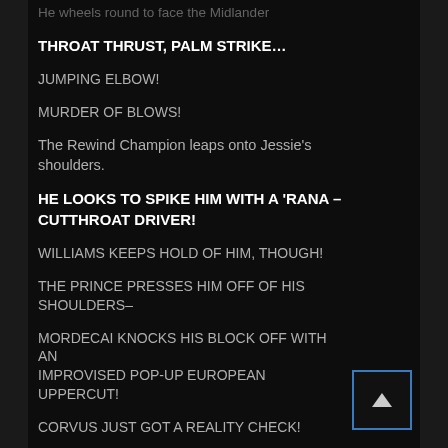He wheels round to face the Midlander
THROAT THRUST, PALM STRIKE…
JUMPING ELBOW!
MURDER OF BLOWS!
The Rewind Champion leaps onto Jessie's shoulders.
HE LOOKS TO SPIKE HIM WITH A 'RANA – CUTTHROAT DRIVER!
WILLIAMS KEEPS HOLD OF HIM, THOUGH!
THE PRINCE PRESSES HIM OFF OF HIS SHOULDERS–
MORDECAI KNOCKS HIS BLOCK OFF WITH AN IMPROVISED POP-UP EUROPEAN UPPERCUT!
CORVUS JUST GOT A REALITY CHECK!